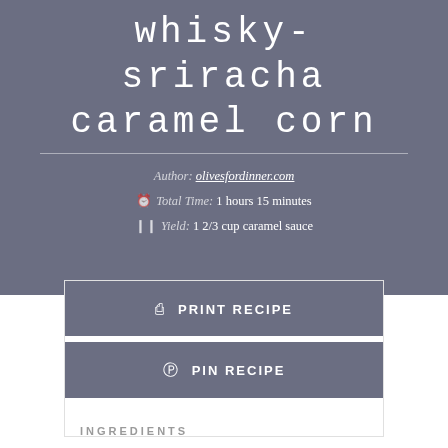whisky-sriracha caramel corn
Author: olivesfordinner.com
Total Time: 1 hours 15 minutes
Yield: 1 2/3 cup caramel sauce
PRINT RECIPE
PIN RECIPE
INGREDIENTS